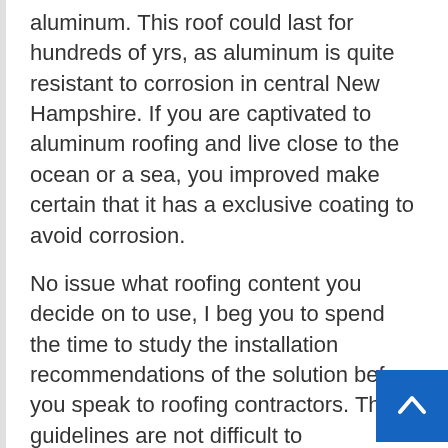aluminum. This roof could last for hundreds of yrs, as aluminum is quite resistant to corrosion in central New Hampshire. If you are captivated to aluminum roofing and live close to the ocean or a sea, you improved make certain that it has a exclusive coating to avoid corrosion.
No issue what roofing content you decide on to use, I beg you to spend the time to study the installation recommendations of the solution before you speak to roofing contractors. These guidelines are not difficult to understand. Numerous manufacturers have excellent how-to-install videos you can observe.
I'm not asking you to do this considering you are going to be setting up the roofing. I'm sugges this mainly because you will need to recognize how